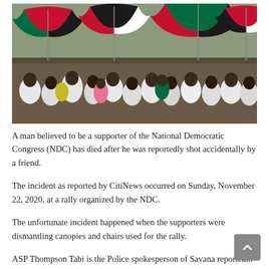[Figure (photo): A large crowd of NDC (National Democratic Congress) supporters at a rally, holding red, green, black and white umbrellas and wearing white shirts with party colors.]
A man believed to be a supporter of the National Democratic Congress (NDC) has died after he was reportedly shot accidentally by a friend.
The incident as reported by CitiNews occurred on Sunday, November 22, 2020, at a rally organized by the NDC.
The unfortunate incident happened when the supporters were dismantling canopies and chairs used for the rally.
ASP Thompson Tabi is the Police spokesperson of Savana reported...